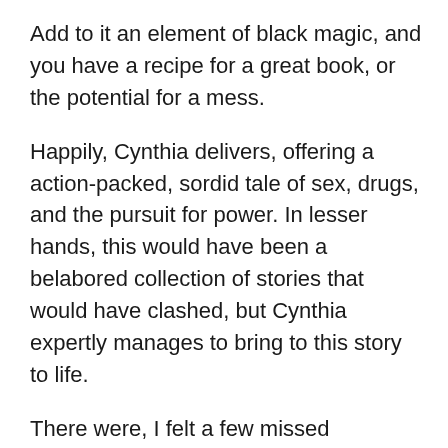Add to it an element of black magic, and you have a recipe for a great book, or the potential for a mess.
Happily, Cynthia delivers, offering a action-packed, sordid tale of sex, drugs, and the pursuit for power. In lesser hands, this would have been a belabored collection of stories that would have clashed, but Cynthia expertly manages to bring to this story to life.
There were, I felt a few missed opportunities. I would have liked to have seen the black magic angle play out a little more, especially during the climax of the story. I felt as though there was no denouement. The action fell away, leaving me wanting more.
Still, this was a very enjoyable read. The best stories invite you in, as if you are experiencing the action yourself. I felt